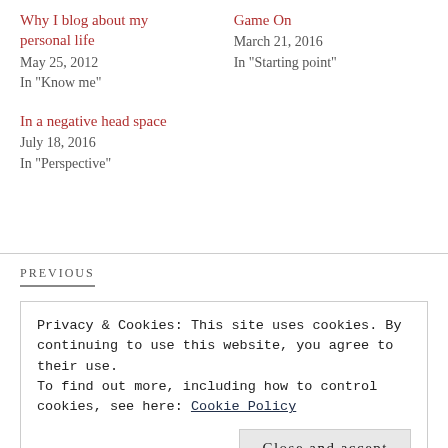Why I blog about my personal life
May 25, 2012
In "Know me"
Game On
March 21, 2016
In "Starting point"
In a negative head space
July 18, 2016
In "Perspective"
PREVIOUS
Privacy & Cookies: This site uses cookies. By continuing to use this website, you agree to their use.
To find out more, including how to control cookies, see here: Cookie Policy
Close and accept